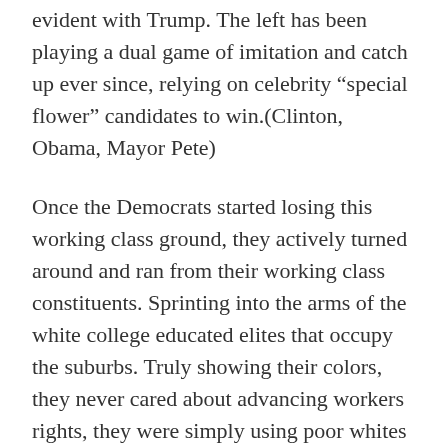evident with Trump. The left has been playing a dual game of imitation and catch up ever since, relying on celebrity “special flower” candidates to win.(Clinton, Obama, Mayor Pete)
Once the Democrats started losing this working class ground, they actively turned around and ran from their working class constituents. Sprinting into the arms of the white college educated elites that occupy the suburbs. Truly showing their colors, they never cared about advancing workers rights, they were simply using poor whites and poor minority groups to win elections. After all workers are not in their class, they don’t live a life anywhere close to an actual American. They could already speak the super woke language of affluent suburban whites, and